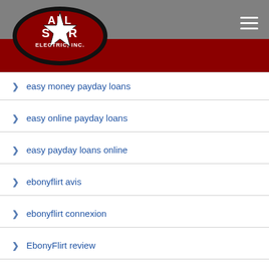[Figure (logo): All Star Electric, Inc. logo — oval shape with star, black and red colors on gray header background with red diagonal banner]
easy money payday loans
easy online payday loans
easy payday loans online
ebonyflirt avis
ebonyflirt connexion
EbonyFlirt review
echat avis
edarling como funciona